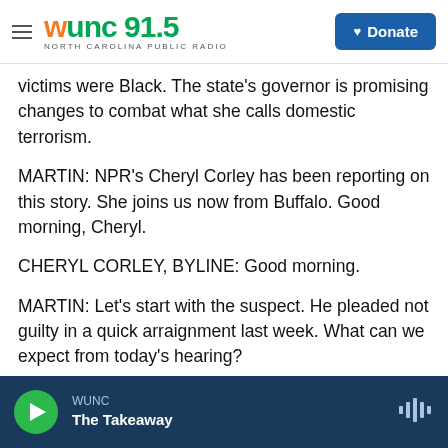WUNC 91.5 NORTH CAROLINA PUBLIC RADIO — Donate
victims were Black. The state's governor is promising changes to combat what she calls domestic terrorism.
MARTIN: NPR's Cheryl Corley has been reporting on this story. She joins us now from Buffalo. Good morning, Cheryl.
CHERYL CORLEY, BYLINE: Good morning.
MARTIN: Let's start with the suspect. He pleaded not guilty in a quick arraignment last week. What can we expect from today's hearing?
WUNC — The Takeaway